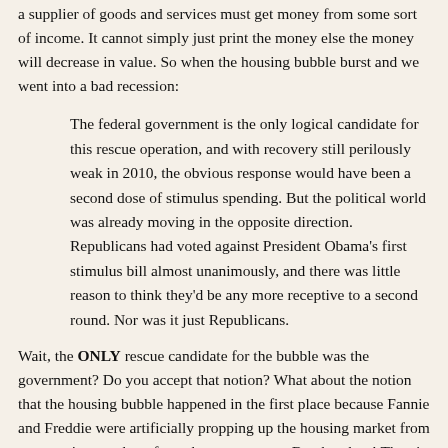a supplier of goods and services must get money from some sort of income. It cannot simply just print the money else the money will decrease in value. So when the housing bubble burst and we went into a bad recession:
The federal government is the only logical candidate for this rescue operation, and with recovery still perilously weak in 2010, the obvious response would have been a second dose of stimulus spending. But the political world was already moving in the opposite direction. Republicans had voted against President Obama's first stimulus bill almost unanimously, and there was little reason to think they'd be any more receptive to a second round. Nor was it just Republicans.
Wait, the ONLY rescue candidate for the bubble was the government? Do you accept that notion? What about the notion that the housing bubble happened in the first place because Fannie and Freddie were artificially propping up the housing market from money given to them from the government. Buy buy buy! There's plenty of money! Except there isn't plenty of people who can